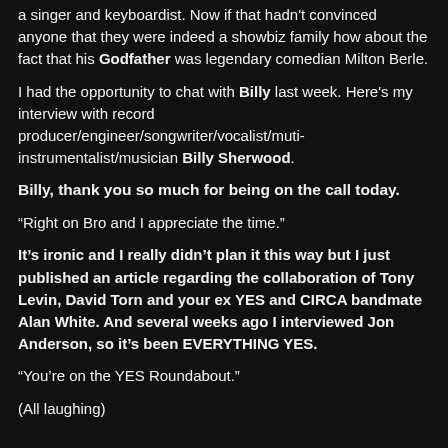a singer and keyboardist. Now if that hadn't convinced anyone that they were indeed a showbiz family how about the fact that his Godfather was legendary comedian Milton Berle.
I had the opportunity to chat with Billy last week. Here's my interview with record producer/engineer/songwriter/vocalist/muti-instrumentalist/musician Billy Sherwood.
Billy, thank you so much for being on the call today.
“Right on Bro and I appreciate the time.”
It’s ironic and I really didn’t plan it this way but I just published an article regarding the collaboration of Tony Levin, David Torn and your ex YES and CIRCA bandmate Alan White. And several weeks ago I interviewed Jon Anderson, so it’s been EVERYTHING YES.
“You’re on the YES Roundabout.”
(All laughing)